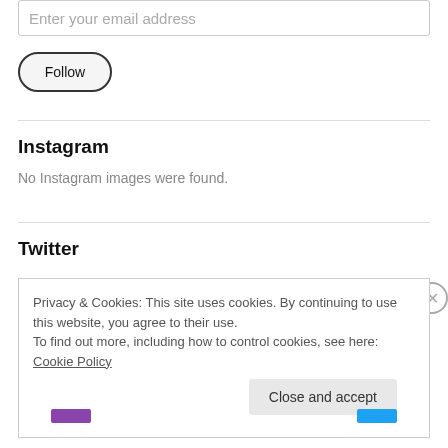Enter your email address
Follow
Instagram
No Instagram images were found.
Twitter
Privacy & Cookies: This site uses cookies. By continuing to use this website, you agree to their use.
To find out more, including how to control cookies, see here: Cookie Policy
Close and accept